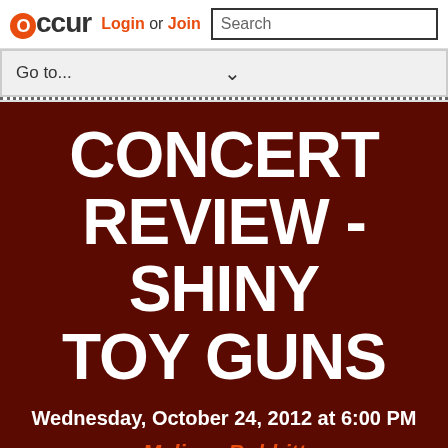Occur — Login or Join — Search — Go to...
CONCERT REVIEW - SHINY TOY GUNS
Wednesday, October 24, 2012 at 6:00 PM
Melissa Bobbitt